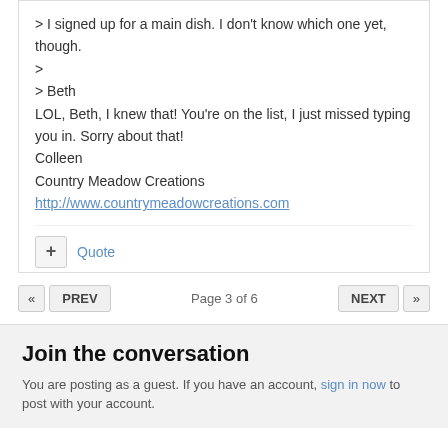> I signed up for a main dish. I don't know which one yet, though.

>

> Beth

LOL, Beth, I knew that! You're on the list, I just missed typing you in. Sorry about that!

Colleen

Country Meadow Creations

http://www.countrymeadowcreations.com
+ Quote
« PREV   Page 3 of 6   NEXT »
Join the conversation
You are posting as a guest. If you have an account, sign in now to post with your account.